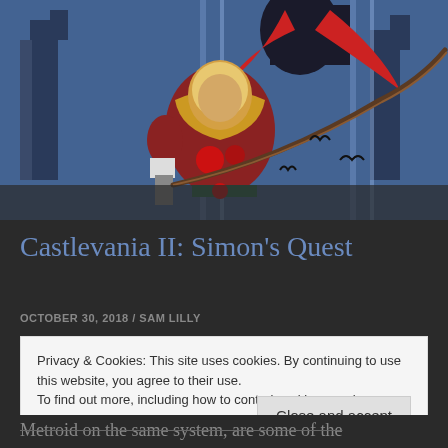[Figure (illustration): Castlevania II: Simon's Quest game cover art showing a blonde warrior in red and gold armor holding a whip, with a dark castle and bats in the background, blue and dark color scheme]
Castlevania II: Simon's Quest
OCTOBER 30, 2018 / SAM LILLY
Privacy & Cookies: This site uses cookies. By continuing to use this website, you agree to their use.
To find out more, including how to control cookies, see here:
Cookie Policy
Close and accept
Metroid on the same system, are some of the